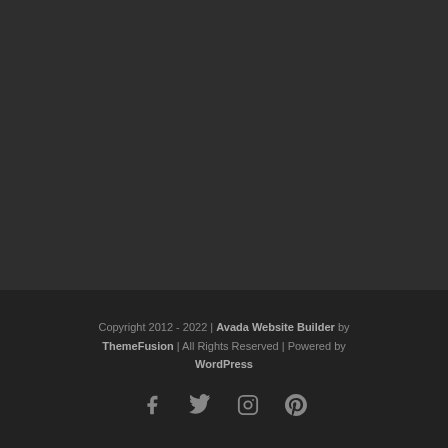Copyright 2012 - 2022 | Avada Website Builder by ThemeFusion | All Rights Reserved | Powered by WordPress
[Figure (other): Social media icons: Facebook, Twitter, Instagram, Pinterest]